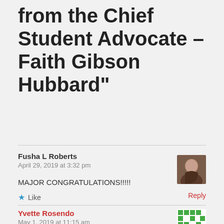from the Chief Student Advocate – Faith Gibson Hubbard”
Fusha L Roberts
April 29, 2019 at 3:32 pm
MAJOR CONGRATULATIONS!!!!!
Like
Reply
Yvette Rosendo
May 1, 2019 at 11:15 am